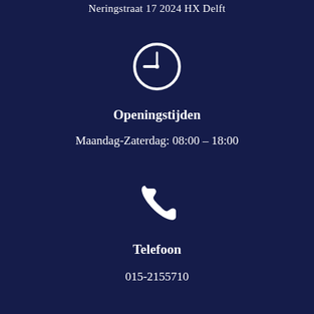Neringstraat 17 2024 HX Delft
[Figure (illustration): White clock icon (circle with clock hands showing approximately 9 o'clock) on dark navy background]
Openingstijden
Maandag-Zaterdag: 08:00 – 18:00
[Figure (illustration): White telephone handset icon on dark navy background]
Telefoon
015-2155710